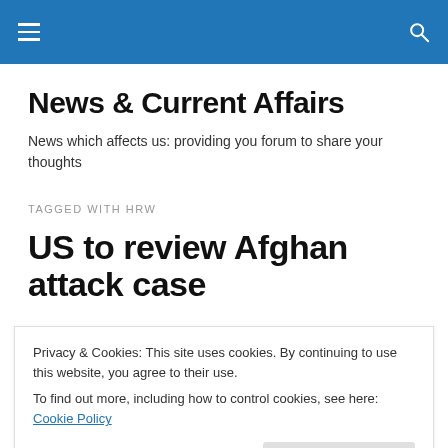News & Current Affairs — navigation bar
News & Current Affairs
News which affects us: providing you forum to share your thoughts
TAGGED WITH HRW
US to review Afghan attack case
Privacy & Cookies: This site uses cookies. By continuing to use this website, you agree to their use.
To find out more, including how to control cookies, see here: Cookie Policy